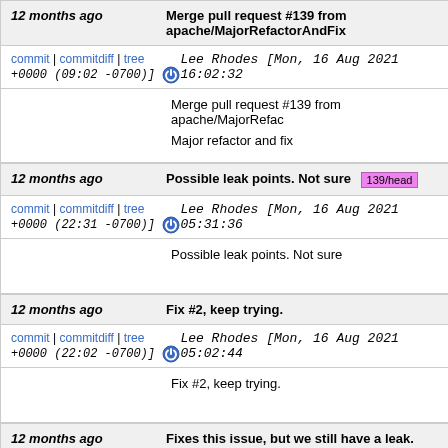12 months ago | Merge pull request #139 from apache/MajorRefactorAndFix
commit | commitdiff | tree  Lee Rhodes [Mon, 16 Aug 2021 16:02:32 +0000 (09:02 -0700)]
Merge pull request #139 from apache/MajorRefac...
Major refactor and fix
12 months ago | Possible leak points. Not sure  139/head
commit | commitdiff | tree  Lee Rhodes [Mon, 16 Aug 2021 05:31:36 +0000 (22:31 -0700)]
Possible leak points. Not sure
12 months ago | Fix #2, keep trying.
commit | commitdiff | tree  Lee Rhodes [Mon, 16 Aug 2021 05:02:44 +0000 (22:02 -0700)]
Fix #2, keep trying.
12 months ago | Fixes this issue, but we still have a leak.